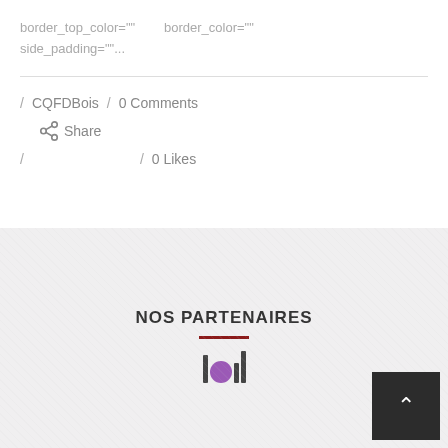border_top_color=""    border_color=""
side_padding=""...
/ CQFDBois  /  0 Comments
 Share
/                /  0 Likes
NOS PARTENAIRES